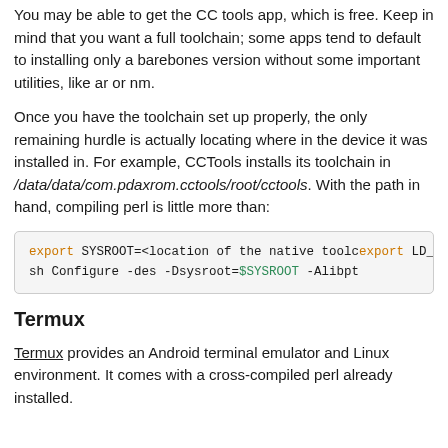You may be able to get the CC tools app, which is free. Keep in mind that you want a full toolchain; some apps tend to default to installing only a barebones version without some important utilities, like ar or nm.
Once you have the toolchain set up properly, the only remaining hurdle is actually locating where in the device it was installed in. For example, CCTools installs its toolchain in /data/data/com.pdaxrom.cctools/root/cctools. With the path in hand, compiling perl is little more than:
[Figure (screenshot): Code block showing export SYSROOT, export LD_LIBRARY_PATH, and sh Configure commands with syntax highlighting]
Termux
Termux provides an Android terminal emulator and Linux environment. It comes with a cross-compiled perl already installed.